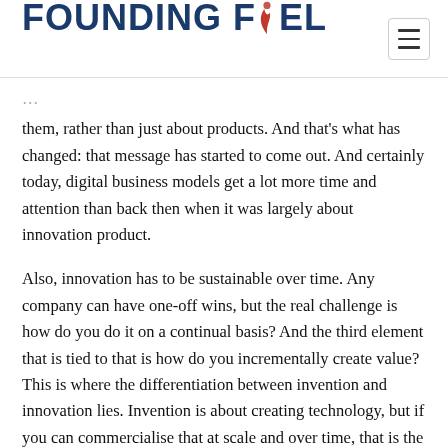FOUNDING FUEL
them, rather than just about products. And that's what has changed: that message has started to come out. And certainly today, digital business models get a lot more time and attention than back then when it was largely about innovation product.
Also, innovation has to be sustainable over time. Any company can have one-off wins, but the real challenge is how do you do it on a continual basis? And the third element that is tied to that is how do you incrementally create value? This is where the differentiation between invention and innovation lies. Invention is about creating technology, but if you can commercialise that at scale and over time, that is the Holy Grail. So when I think about innovation, I think of that lens. And you can argue that a large company should have an advantage doing that. After all, it has the resources, the